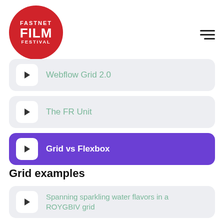[Figure (logo): Fastnet Film Festival red circle logo with white text]
Webflow Grid 2.0
The FR Unit
Grid vs Flexbox
Grid examples
Spanning sparkling water flavors in a ROYGBIV grid